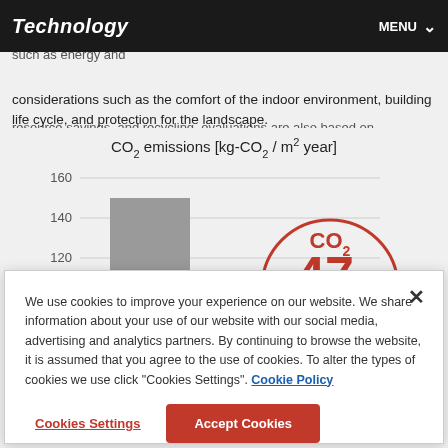Technology | MENU
Proyectum has comprehensively evaluated the environmental performance of buildings. In addition to environmental considerations such as energy and resource savings, and recycling, evaluations are also based on considerations such as the comfort of the indoor environment, building life cycle, and protection for the landscape.
[Figure (bar-chart): Bar chart showing CO2 emissions. Y-axis shows values 120, 140, 160. A gray bar is visible around 130-140 range. A red circular graphic shows CO2 value partially cut off (47...).]
We use cookies to improve your experience on our website. We share information about your use of our website with our social media, advertising and analytics partners. By continuing to browse the website, it is assumed that you agree to the use of cookies. To alter the types of cookies we use click "Cookies Settings". Cookie Policy
Cookies Settings | Accept Cookies